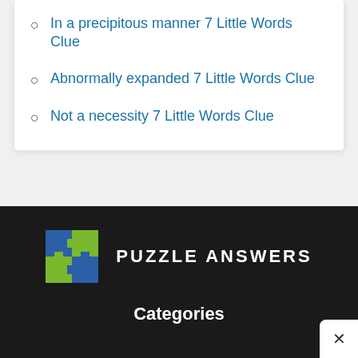In a precipitous manner 7 Little Words Clue
Abnormally expanded 7 Little Words Clue
Not a necessity 7 Little Words Clue
[Figure (logo): Puzzle Answers logo: four puzzle pieces in blue and green arranged in a 2x2 grid]
PUZZLE ANSWERS
Categories